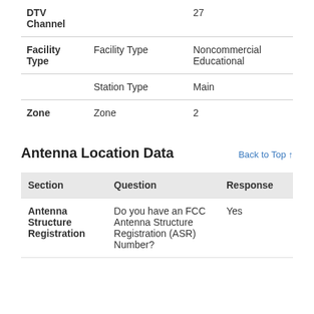|  |  |  |
| --- | --- | --- |
| DTV Channel |  | 27 |
| Facility Type | Facility Type | Noncommercial Educational |
|  | Station Type | Main |
| Zone | Zone | 2 |
Antenna Location Data
Back to Top ↑
| Section | Question | Response |
| --- | --- | --- |
| Antenna Structure Registration | Do you have an FCC Antenna Structure Registration (ASR) Number? | Yes |
|  |  |  |